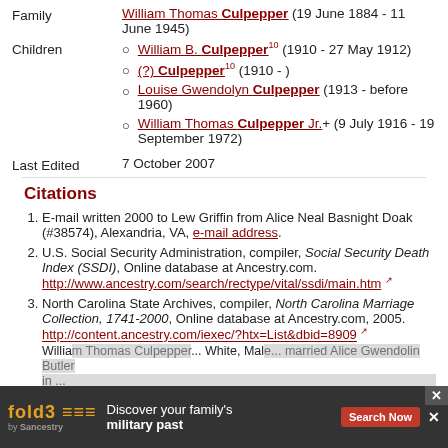Family: William Thomas Culpepper (19 June 1884 - 11 June 1945)
Children: William B. Culpepper^10 (1910 - 27 May 1912); (?) Culpepper^10 (1910 - ); Louise Gwendolyn Culpepper (1913 - before 1960); William Thomas Culpepper Jr.+ (9 July 1916 - 19 September 1972)
Last Edited: 7 October 2007
Citations
1. E-mail written 2000 to Lew Griffin from Alice Neal Basnight Doak (#38574), Alexandria, VA, e-mail address.
2. U.S. Social Security Administration, compiler, Social Security Death Index (SSDI), Online database at Ancestry.com. http://www.ancestry.com/search/rectype/vital/ssdi/main.htm
3. North Carolina State Archives, compiler, North Carolina Marriage Collection, 1741-2000, Online database at Ancestry.com, 2005. http://content.ancestry.com/iexec/?htx=List&dbid=8909
William Thomas Culpepper... White, Male... married Alice Gwendolin Butler in...
4. 19...